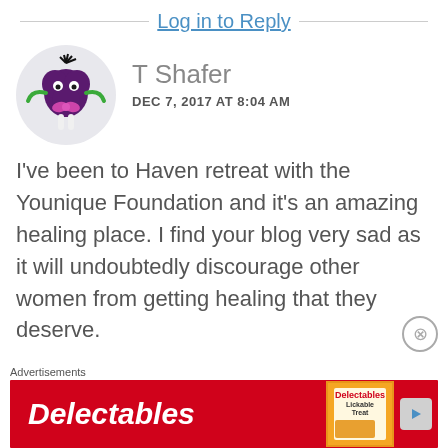Log in to Reply
[Figure (illustration): Avatar of a cartoon creature: dark purple blob with black hair tuft, green arms, pink bow, white legs, on a light gray circular background]
T Shafer
DEC 7, 2017 AT 8:04 AM
I've been to Haven retreat with the Younique Foundation and it's an amazing healing place. I find your blog very sad as it will undoubtedly discourage other women from getting healing that they deserve.
Advertisements
[Figure (screenshot): Delectables cat treat advertisement banner with red background, Delectables logo in white script, and product package image]